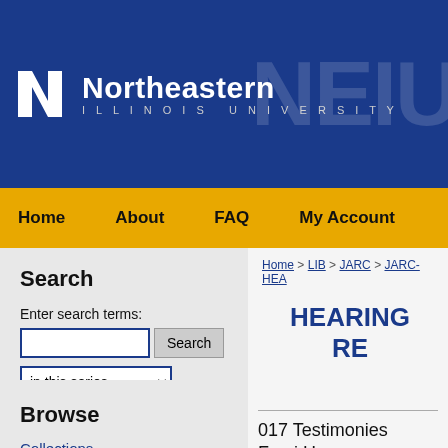[Figure (logo): Northeastern Illinois University logo with N shield icon and NEIU text on dark blue background]
Home   About   FAQ   My Account
Search
Enter search terms:
in this series
Advanced Search
Browse
Collections
Disciplines
Authors
Home > LIB > JARC > JARC-HEA
HEARING RE
017 Testimonies Fumi Hasegawa, Kimoto, Minoru